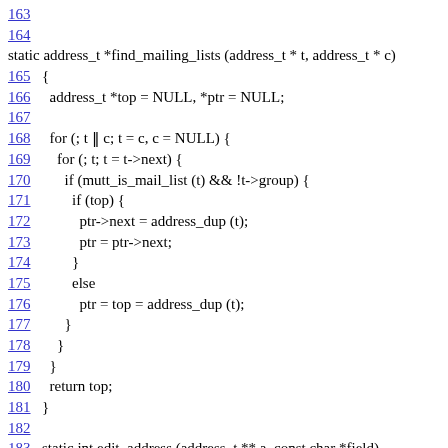163
164
static address_t *find_mailing_lists (address_t * t, address_t * c)
165 {
166   address_t *top = NULL, *ptr = NULL;
167
168   for (; t || c; t = c, c = NULL) {
169     for (; t; t = t->next) {
170       if (mutt_is_mail_list (t) && !t->group) {
171         if (top) {
172           ptr->next = address_dup (t);
173           ptr = ptr->next;
174         }
175         else
176           ptr = top = address_dup (t);
177       }
178     }
179   }
180   return top;
181 }
182
183 static int edit_address (address_t ** a, const char *field)
184 {
185   char buf[HUGE_STRING];
186   char *err = NULL;
187   int idna_ok = 0;